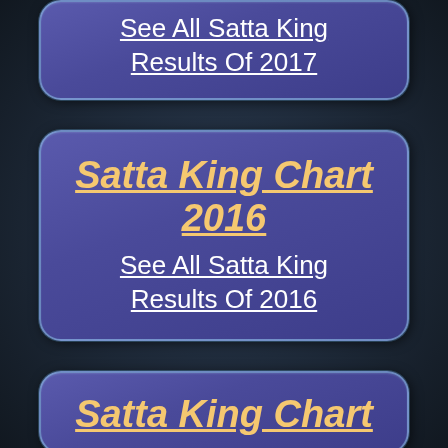See All Satta King Results Of 2017
Satta King Chart 2016
See All Satta King Results Of 2016
Satta King Chart